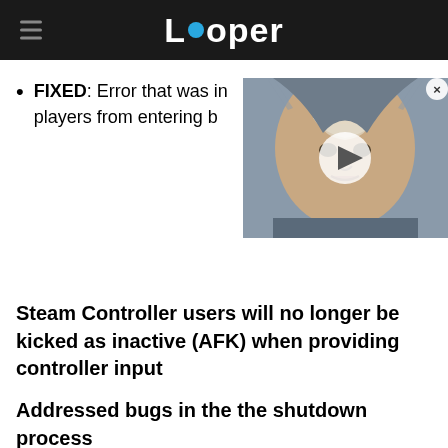Looper
FIXED: Error that was in... players from entering b...
[Figure (screenshot): Video thumbnail overlay showing a character with face paint, with a play button in the center and a close (X) button in the top right corner.]
Steam Controller users will no longer be kicked as inactive (AFK) when providing controller input
Addressed bugs in the the shutdown process
FIXED: game sometimes storing borderless in the options on shutdown